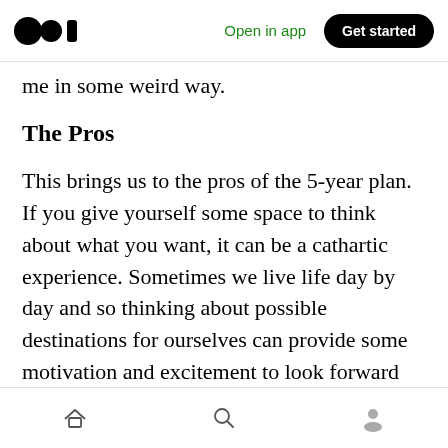Medium app header — Open in app | Get started
me in some weird way.
The Pros
This brings us to the pros of the 5-year plan. If you give yourself some space to think about what you want, it can be a cathartic experience. Sometimes we live life day by day and so thinking about possible destinations for ourselves can provide some motivation and excitement to look forward to.
Here are the top 3 pros to planning this far in
Bottom navigation bar — home, search, profile